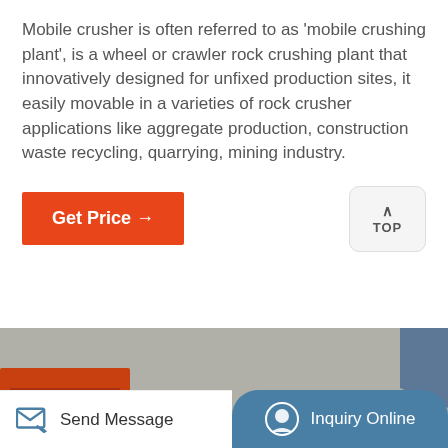Mobile crusher is often referred to as 'mobile crushing plant', is a wheel or crawler rock crushing plant that innovatively designed for unfixed production sites, it easily movable in a varieties of rock crusher applications like aggregate production, construction waste recycling, quarrying, mining industry.
Get Price →
TOP
[Figure (photo): Industrial jaw crusher machinery — multiple large crusher units with yellow flywheels and black belts lined up in an industrial setting against a concrete wall]
Send Message
Inquiry Online